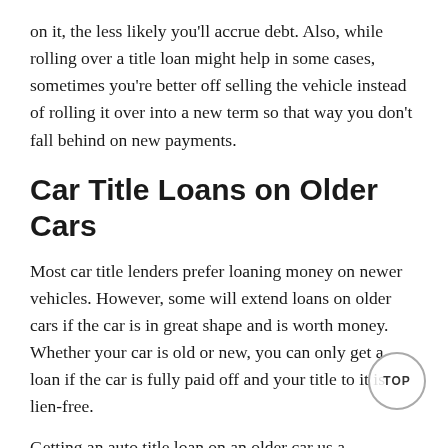on it, the less likely you'll accrue debt. Also, while rolling over a title loan might help in some cases, sometimes you're better off selling the vehicle instead of rolling it over into a new term so that way you don't fall behind on new payments.
Car Title Loans on Older Cars
Most car title lenders prefer loaning money on newer vehicles. However, some will extend loans on older cars if the car is in great shape and is worth money. Whether your car is old or new, you can only get a loan if the car is fully paid off and your title to it is lien-free.
Getting an auto title loan on an older car us a borrowing option for you if you have damaged credit, as most lenders won't even run your credit history. However, if you don't make your payments, there are consequences if you go into default.